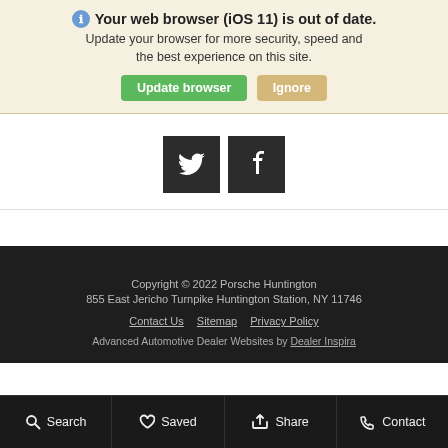Your web browser (iOS 11) is out of date. Update your browser for more security, speed and the best experience on this site. [Update browser] [Ignore]
[Figure (screenshot): Social media icons: Twitter (bird icon) and Facebook (f icon), both on dark square backgrounds]
Copyright © 2022 Porsche Huntington
855 East Jericho Turnpike Huntington Station, NY 11746
Contact Us   Sitemap   Privacy Policy
Advanced Automotive Dealer Websites by Dealer Inspira
Search   Saved   Share   Contact